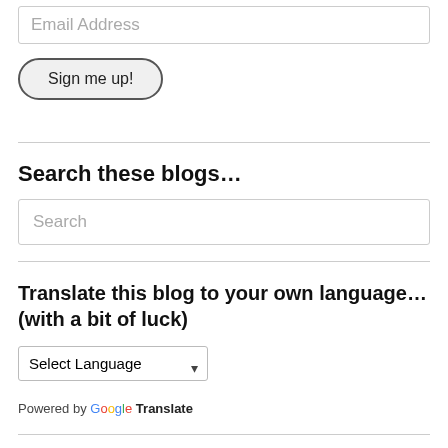[Figure (screenshot): Email address input field with placeholder text 'Email Address']
Sign me up!
Search these blogs…
[Figure (screenshot): Search input box with placeholder text 'Search']
Translate this blog to your own language… (with a bit of luck)
Select Language
Powered by Google Translate
Contact me direct…